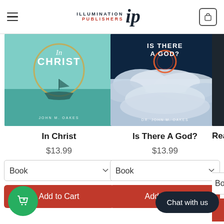Illumination Publishers — navigation header with hamburger menu and cart icon
[Figure (photo): Book cover: 'In Christ' by John M. Oakes — teal/mint background with a small boat on still water and a golden circle]
In Christ
$13.99
Book
Add to Cart
[Figure (photo): Book cover: 'Is There A God?' by Dr. John M. Oakes — dark stormy sky with clouds and a glowing red/orange circle]
Is There A God?
$13.99
Book
Add to Cart
[Figure (photo): Partially visible third book cover — dark background, partially cropped]
Rea
Book
Chat with us